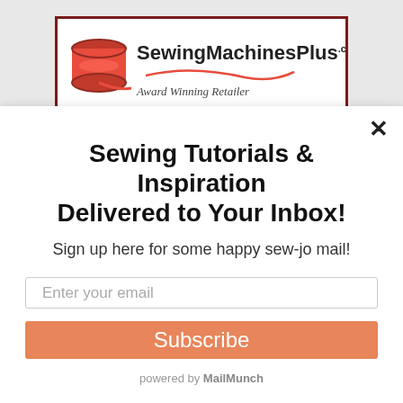[Figure (logo): SewingMachinesPlus.com logo with red spool of thread and needle, tagline 'Award Winning Retailer', dark red border]
Sewing Tutorials & Inspiration Delivered to Your Inbox!
Sign up here for some happy sew-jo mail!
Enter your email
Subscribe
powered by MailMunch